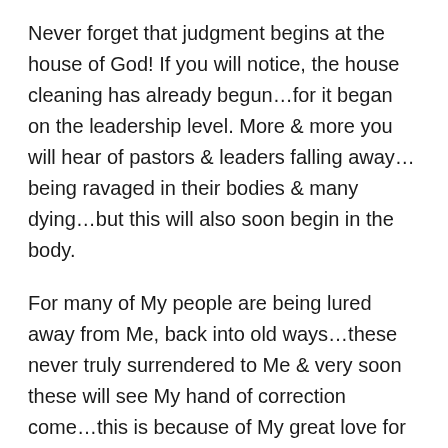Never forget that judgment begins at the house of God! If you will notice, the house cleaning has already begun…for it began on the leadership level. More & more you will hear of pastors & leaders falling away…being ravaged in their bodies & many dying…but this will also soon begin in the body.
For many of My people are being lured away from Me, back into old ways…these never truly surrendered to Me & very soon these will see My hand of correction come…this is because of My great love for them. For many say in their heart that they are close to Me, feeling My presence in times of corporate worship, not knowing that this in itself is only touching the edge of My presence. For the love, joy & peace that is felt during those times, where My presence is manifest, is only the beginning…for this is when I desire consume My people & come greatly into their hearts &